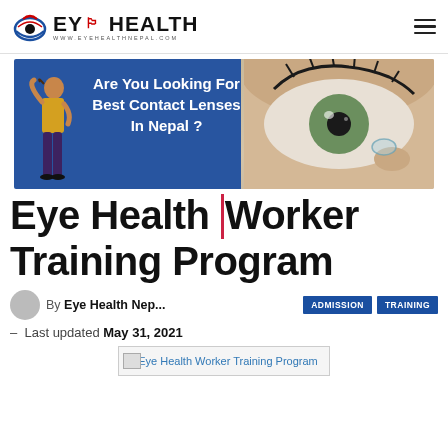EYE HEALTH - www.eyehealthnepal.com
[Figure (photo): Banner advertisement: 'Are You Looking For Best Contact Lenses In Nepal?' with a woman figure on the left and a close-up photo of an eye with a contact lens on the right, blue background on left half.]
Eye Health Worker Training Program
By Eye Health Nep...
Last updated May 31, 2021
[Figure (photo): Eye Health Worker Training Program image placeholder]